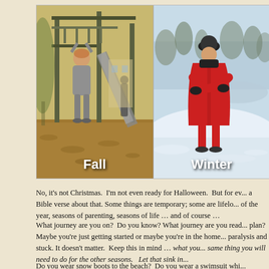[Figure (photo): Two side-by-side photos. Left photo labeled 'Fall': an older woman hanging from playground monkey bars in gray sweatsuit at a playground with wood chips ground cover. Right photo labeled 'Winter': a woman in a red coat and black hat/gloves standing in a snowy outdoor setting.]
No, it's not Christmas.  I'm not even ready for Halloween.  But for ev... a Bible verse about that. Some things are temporary; some are lifelo... of the year, seasons of parenting, seasons of life … and of course …
What journey are you on?  Do you know? What journey are you read... plan?  Maybe you're just getting started or maybe you're in the home... paralysis and stuck. It doesn't matter.  Keep this in mind … what you... same thing you will need to do for the other seasons.   Let that sink in...
Do you wear snow boots to the beach?  Do you wear a swimsuit whi...